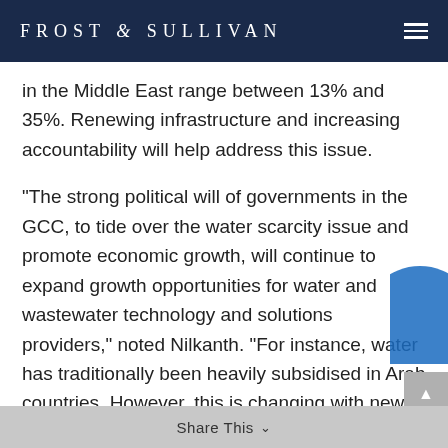FROST & SULLIVAN
in the Middle East range between 13% and 35%. Renewing infrastructure and increasing accountability will help address this issue.
“The strong political will of governments in the GCC, to tide over the water scarcity issue and promote economic growth, will continue to expand growth opportunities for water and wastewater technology and solutions providers,” noted Nilkanth. “For instance, water has traditionally been heavily subsidised in Arab countries. However, this is changing with new and revised water tariffs and slabs announced by Abu Dhabi, which is likely to begin a trend of sustainable consumption in the region.”
Share This ∨